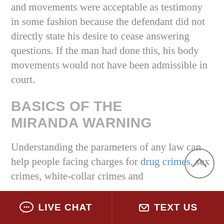and movements were acceptable as testimony in some fashion because the defendant did not directly state his desire to cease answering questions. If the man had done this, his body movements would not have been admissible in court.
BASICS OF THE MIRANDA WARNING
Understanding the parameters of any law can help people facing charges for drug crimes, sex crimes, white-collar crimes and